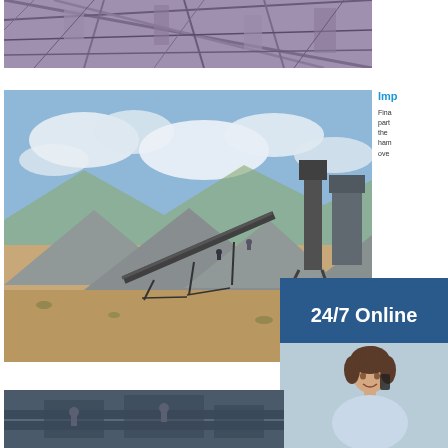[Figure (photo): Aerial/overhead view of industrial metal structure, scaffolding or mining facility framework, purple-tinted metal beams and supports]
[Figure (photo): Large quarry or mining operation with multiple gravel/aggregate piles and conveyor belts under a partly cloudy sky, workers visible on conveyor]
Imp
Fina part the ham ove
[Figure (infographic): 24/7 Online service banner with dark blue background showing text '24/7 Online' and a smiling woman on phone below]
[Figure (photo): Bottom strip showing partial view of industrial machinery or equipment, dark toned]